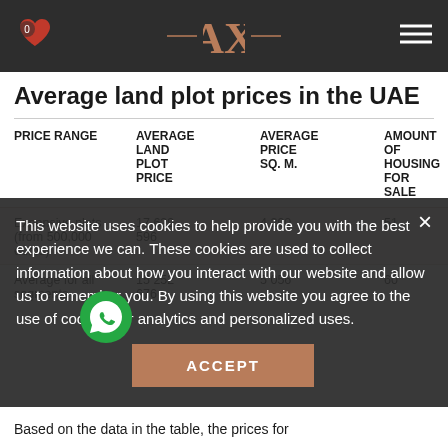AX logo navigation bar
Average land plot prices in the UAE
| PRICE RANGE | AVERAGE LAND PLOT PRICE | AVERAGE PRICE SQ. M. | AMOUNT OF HOUSING FOR SALE |
| --- | --- | --- | --- |
| Expensive plots (from 500,000 euros) | 17 629 596 | 4 200 | 51 |
| Average for all segments | 15 252 | 5 056
676 | 60 |
This website uses cookies to help provide you with the best experience we can. These cookies are used to collect information about how you interact with our website and allow us to remember you. By using this website you agree to the use of cookies for analytics and personalized uses.
Based on the data in the table, the prices for